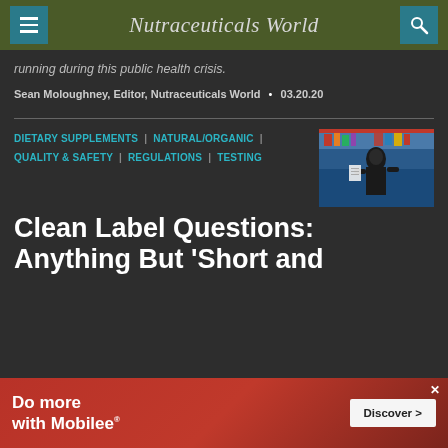Nutraceuticals World
running during this public health crisis.
Sean Moloughney, Editor, Nutraceuticals World • 03.20.20
DIETARY SUPPLEMENTS | NATURAL/ORGANIC | QUALITY & SAFETY | REGULATIONS | TESTING
[Figure (photo): Person reading or holding documents, standing in front of shelves or wall]
Clean Label Questions: Anything But 'Short and
[Figure (infographic): Advertisement: Do more with Mobilee® — Discover >]